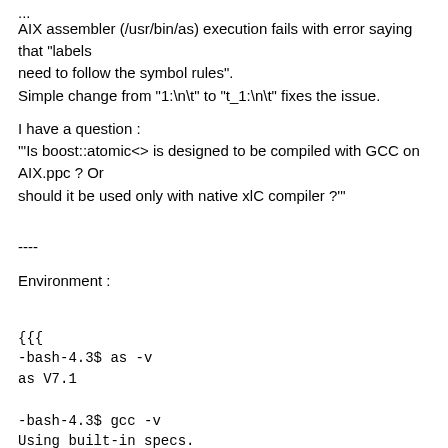AIX assembler (/usr/bin/as) execution fails with error saying that "labels need to follow the symbol rules". Simple change from "1:\n\t" to "t_1:\n\t" fixes the issue.
I have a question :
'"Is boost::atomic<> is designed to be compiled with GCC on AIX.ppc ? Or should it be used only with native xlC compiler ?'"
----
Environment :
{{{
-bash-4.3$ as -v
as V7.1

-bash-4.3$ gcc -v
Using built-in specs.
COLLECT_GCC=gcc
COLLECT_LTO_WRAPPER=/opt/freeware/libexec/gcc/powerpc-